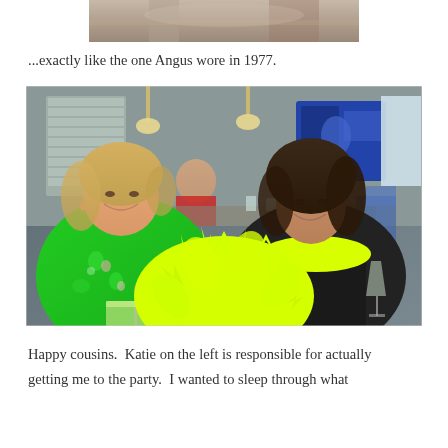[Figure (photo): Partial cropped photo at top of page showing clothing/fabric detail, appears to be a continuation from previous page]
...exactly like the one Angus wore in 1977.
[Figure (photo): Two smiling women (cousins) seated at a restaurant table. Woman on left wears a green floral top and holds a beer glass. Woman on right wears a neon yellow/green outfit. Large neon yellow decorative pom-pom flower in foreground. Restaurant interior visible in background with blue artwork on walls.]
Happy cousins.  Katie on the left is responsible for actually getting me to the party.  I wanted to sleep through what